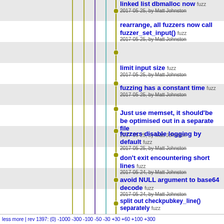[Figure (other): Source code repository timeline/log view showing vertical branch lines with commit dots and commit messages by Matt Johnston]
linked list dbmalloc now  fuzz  2017-05-25, by Matt Johnston
rearrange, all fuzzers now call fuzzer_set_input()  fuzz  2017-05-25, by Matt Johnston
limit input size  fuzz  2017-05-25, by Matt Johnston
fuzzing has a constant time  fuzz  2017-05-25, by Matt Johnston
Just use memset, it should be be optimised out in a separate file  2017-05-25, by Matt Johnston
fuzzers disable logging by default  fuzz  2017-05-25, by Matt Johnston
don't exit encountering short lines  fuzz  2017-05-24, by Matt Johnston
avoid NULL argument to base64 decode  fuzz  2017-05-24, by Matt Johnston
create fuzzer .options files  fuzz  2017-05-23, by Matt Johnston
fuzzer-pubkey  fuzz  2017-05-23, by Matt Johnston
split out checkpubkey_line() separately  fuzz
less more | rev 1397: (0) -1000 -300 -100 -50 -30 +30 +60 +100 +300